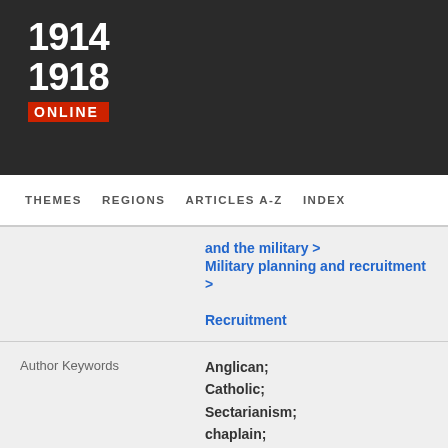[Figure (logo): 1914-1918 Online logo with red ONLINE banner on dark background]
THEMES   REGIONS   ARTICLES A-Z   INDEX
|  | and the military > Military planning and recruitment > Recruitment |
| Author Keywords | Anglican; Catholic; Sectarianism; chaplain; conscription |
| GND Subject Headings | Australien ... |